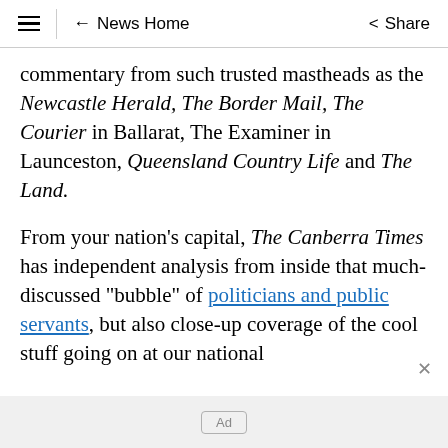≡  ← News Home  Share
commentary from such trusted mastheads as the Newcastle Herald, The Border Mail, The Courier in Ballarat, The Examiner in Launceston, Queensland Country Life and The Land.
From your nation's capital, The Canberra Times has independent analysis from inside that much-discussed "bubble" of politicians and public servants, but also close-up coverage of the cool stuff going on at our national